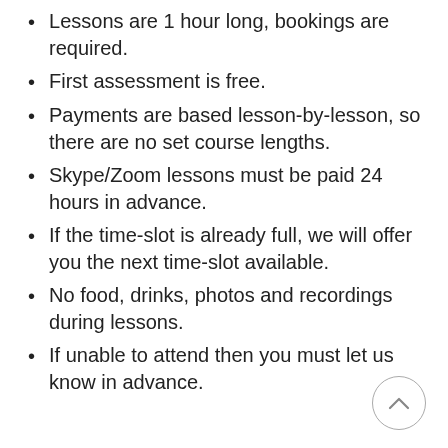Lessons are 1 hour long, bookings are required.
First assessment is free.
Payments are based lesson-by-lesson, so there are no set course lengths.
Skype/Zoom lessons must be paid 24 hours in advance.
If the time-slot is already full, we will offer you the next time-slot available.
No food, drinks, photos and recordings during lessons.
If unable to attend then you must let us know in advance.